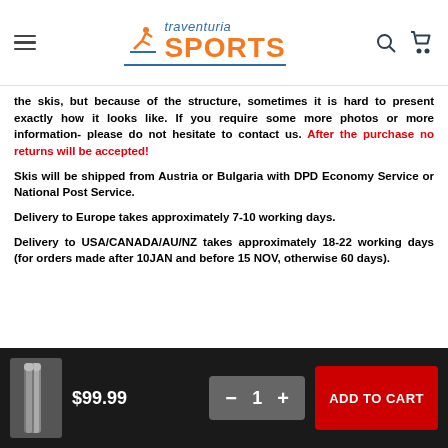traventuria SPORTS
the skis, but because of the structure, sometimes it is hard to present exactly how it looks like. If you require some more photos or more information- please do not hesitate to contact us. After the purchase no returns will be accepted!
Skis will be shipped from Austria or Bulgaria with DPD Economy Service or National Post Service.
Delivery to Europe takes approximately 7-10 working days.
Delivery to USA/CANADA/AU/NZ takes approximately 18-22 working days (for orders made after 10JAN and before 15 NOV, otherwise 60 days).
$99.99  −  1  +  ADD TO CART